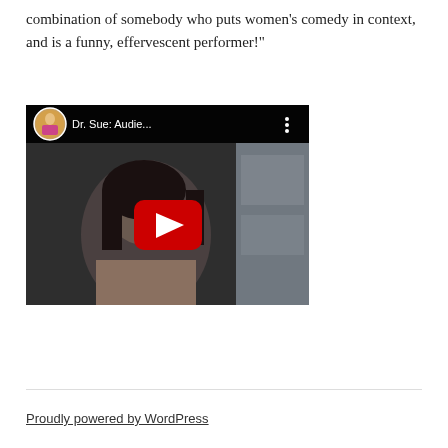combination of somebody who puts women's comedy in context, and is a funny, effervescent performer!"
[Figure (screenshot): YouTube video thumbnail showing a woman's face with dark hair, in a dimly lit scene. The video title reads 'Dr. Sue: Audie...' with a red YouTube play button in the center and a small avatar image in the top-left corner.]
Proudly powered by WordPress